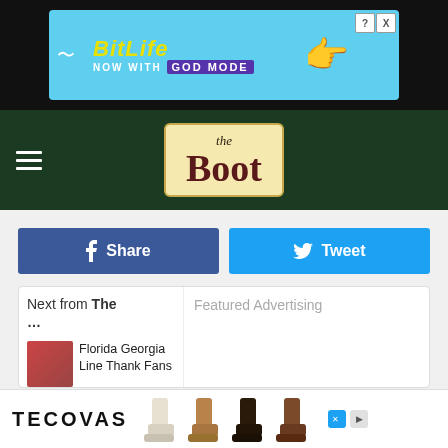[Figure (screenshot): BitLife advertisement banner: 'BitLife NOW WITH GOD MODE' on cyan background with hand pointing, close and help buttons]
[Figure (logo): The Boot website logo — italic 'the' and bold 'Boot' on cream/tan background with dark green header bar, hamburger menu icon on left]
f Share
Tweet
Next from The
Florida Georgia Line Thank Fans
Miranda Lambert Takes Girls
Amy Martin S... R...
Featured Advertising
[Figure (screenshot): Tecovas boots advertisement showing four pairs of cowboy boots (white, tan, black, brown) with TECOVAS logo]